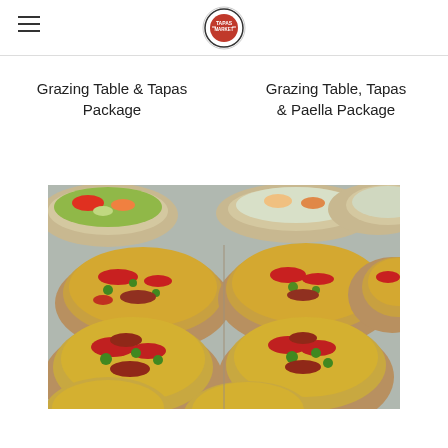Tapas Market logo and navigation
Grazing Table & Tapas Package
Grazing Table, Tapas & Paella Package
[Figure (photo): Multiple brown paper bowls filled with paella — yellow saffron rice topped with red peppers, green peas, and chorizo slices. Top row also shows salad bowls with colorful vegetables.]